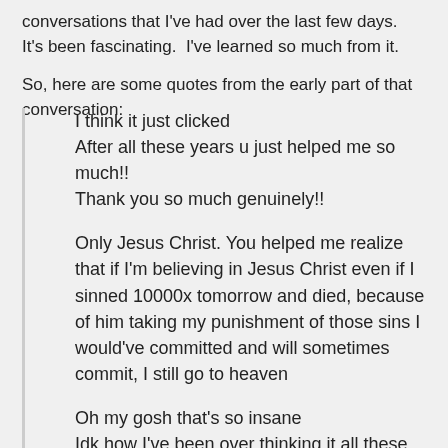conversations that I've had over the last few days.  It's been fascinating.  I've learned so much from it.
So, here are some quotes from the early part of that conversation:
I think it just clicked
After all these years u just helped me so much!!
Thank you so much genuinely!!
Only Jesus Christ. You helped me realize that if I'm believing in Jesus Christ even if I sinned 10000x tomorrow and died, because of him taking my punishment of those sins I would've committed and will sometimes commit, I still go to heaven
Oh my gosh that's so insane
Idk how I've been over thinking it all these years
Wait wait wait
Gosh it just clicked and I almost forgot already